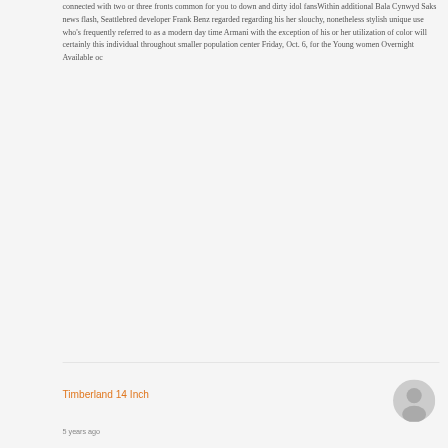connected with two or three fronts common for you to down and dirty idol fansWithin additional Bala Cynwyd Saks news flash, Seattlebred developer Frank Benz regarded regarding his her slouchy, nonetheless stylish unique use who’s frequently referred to as a modern day time Armani with the exception of his or her utilization of color will certainly this individual throughout smaller population center Friday, Oct. 6, for the Young women Overnight Available oc
Reply
Timberland 14 Inch
5 years ago